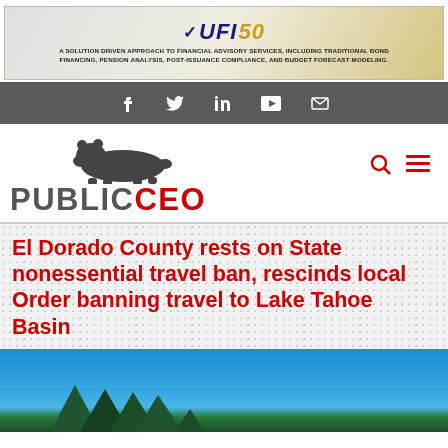[Figure (other): UFI 50 banner advertisement: A solution driven approach to financial advisory services, including traditional bond financing, pension analysis, post-issuance compliance, and budget forecast modeling.]
f  twitter  in  play  mail (social media icons navigation bar)
[Figure (logo): PublicCEO logo with bear silhouette above the text PUBLIC in dark gray and CEO in red]
El Dorado County rests on State nonessential travel ban, rescinds local Order banning travel to Lake Tahoe Basin
[Figure (photo): Blue sky with pine tree tops visible at the bottom, suggesting a Lake Tahoe Basin landscape.]